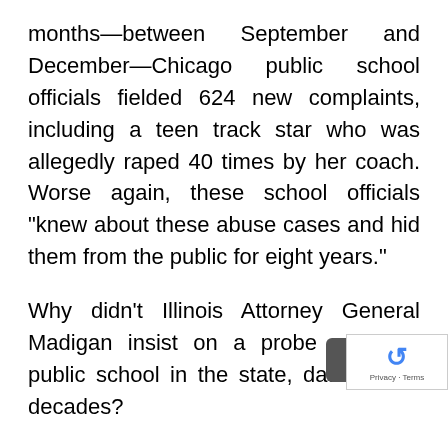months—between September and December—Chicago public school officials fielded 624 new complaints, including a teen track star who was allegedly raped 40 times by her coach. Worse again, these school officials “knew about these abuse cases and hid them from the public for eight years.”
Why didn’t Illinois Attorney General Madigan insist on a probe of every public school in the state, dating back decades?
Kids are being raped by public school teachers right now in Illinois, but this does